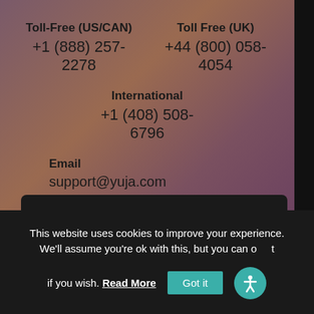Toll-Free (US/CAN) +1 (888) 257-2278
Toll Free (UK) +44 (800) 058-4054
International +1 (408) 508-6796
Email support@yuja.com
CONTACT SUPPORT
This website uses cookies to improve your experience. We'll assume you're ok with this, but you can opt out if you wish. Read More Got it